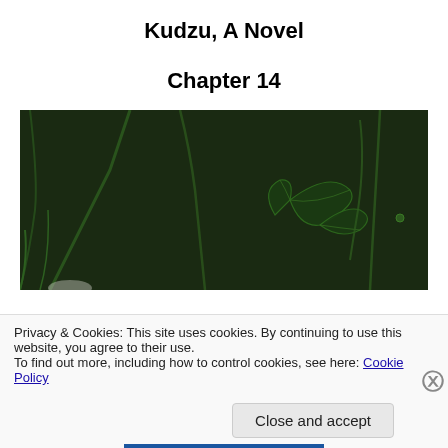Kudzu, A Novel
Chapter 14
[Figure (illustration): Dark background illustration of kudzu plant vines and leaves, with a detailed leaf drawing on a nearly black green background.]
Privacy & Cookies: This site uses cookies. By continuing to use this website, you agree to their use.
To find out more, including how to control cookies, see here: Cookie Policy
Close and accept